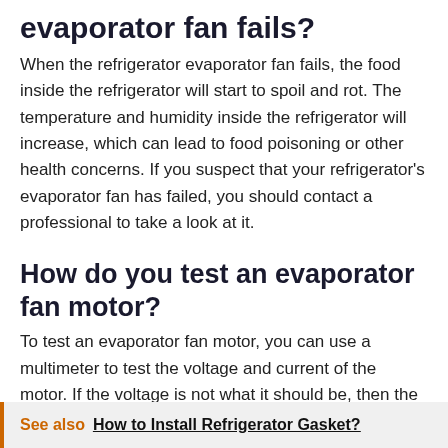evaporator fan fails?
When the refrigerator evaporator fan fails, the food inside the refrigerator will start to spoil and rot. The temperature and humidity inside the refrigerator will increase, which can lead to food poisoning or other health concerns. If you suspect that your refrigerator's evaporator fan has failed, you should contact a professional to take a look at it.
How do you test an evaporator fan motor?
To test an evaporator fan motor, you can use a multimeter to test the voltage and current of the motor. If the voltage is not what it should be, then the motor may need to be replaced.
See also  How to Install Refrigerator Gasket?